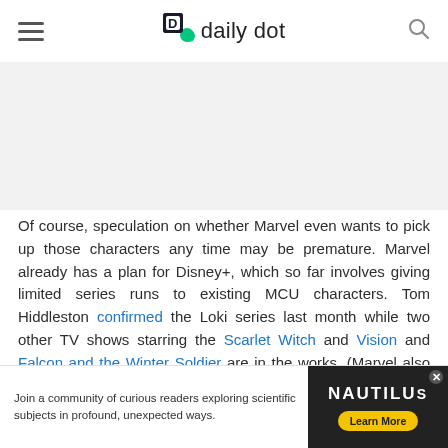Daily Dot
[Figure (other): Advertisement placeholder area (light gray background)]
Of course, speculation on whether Marvel even wants to pick up those characters any time may be premature. Marvel already has a plan for Disney+, which so far involves giving limited series runs to existing MCU characters. Tom Hiddleston confirmed the Loki series last month while two other TV shows starring the Scarlet Witch and Vision and Falcon and the Winter Soldier are in the works. (Marvel also still
[Figure (other): Advertisement banner at bottom: 'Join a community of curious readers exploring scientific subjects in profound, unexpected ways.' with NAUTILUS branding and Learn More button]